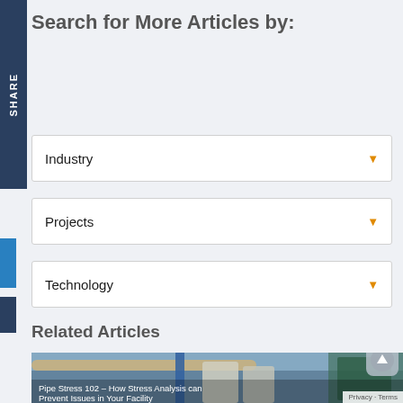Search for More Articles by:
Industry (dropdown)
Projects (dropdown)
Technology (dropdown)
Related Articles
[Figure (photo): Industrial facility with large pipes and cooling towers. Article thumbnail for 'Pipe Stress 102 – How Stress Analysis can Prevent Issues in Your Facility']
Pipe Stress 102 – How Stress Analysis can Prevent Issues in Your Facility